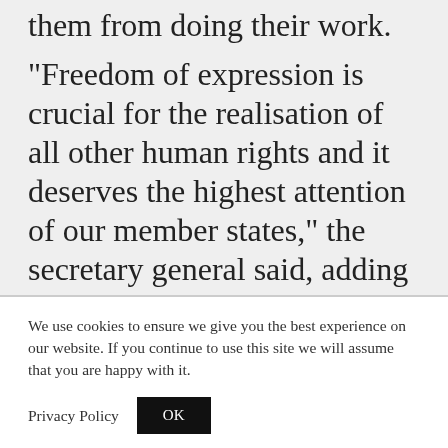them from doing their work.
“Freedom of expression is crucial for the realisation of all other human rights and it deserves the highest attention of our member states,” the secretary general said, adding that member states should use the report as a basis for dialogue with the CoE to improve media freedom.
We use cookies to ensure we give you the best experience on our website. If you continue to use this site we will assume that you are happy with it.
Privacy Policy
OK